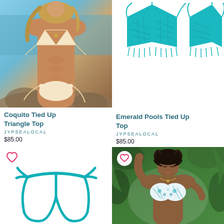[Figure (photo): Woman wearing a beige/cream tie-side bikini triangle top and bottom, standing on a rocky beach with ocean in background]
Coquito Tied Up Triangle Top
JYPSEALOCAL
$85.00
[Figure (photo): Product flat-lay of a teal/turquoise crocheted tied-up triangle bikini top shown front and back]
Emerald Pools Tied Up Top
JYPSEALOCAL
$85.00
[Figure (photo): Teal/emerald green string bikini bottom shown as a product flat-lay with heart/wishlist icon]
[Figure (photo): Woman wearing a floral/tropical print bikini top, with curly dark hair, eyes closed, tropical greenery background, with heart/wishlist icon]